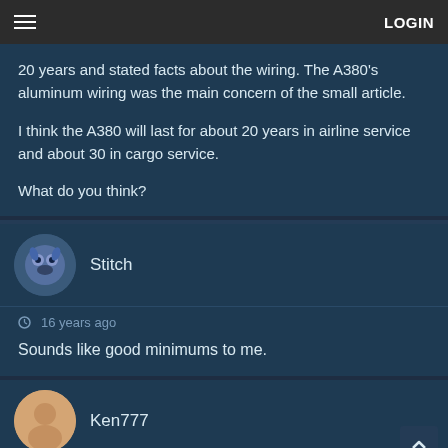LOGIN
20 years and stated facts about the wiring. The A380's aluminum wiring was the main concern of the small article.

I think the A380 will last for about 20 years in airline service and about 30 in cargo service.

What do you think?
Stitch
16 years ago
Sounds like good minimums to me.
Ken777
16 years ago
The first question is when will it start? (EIS that is)